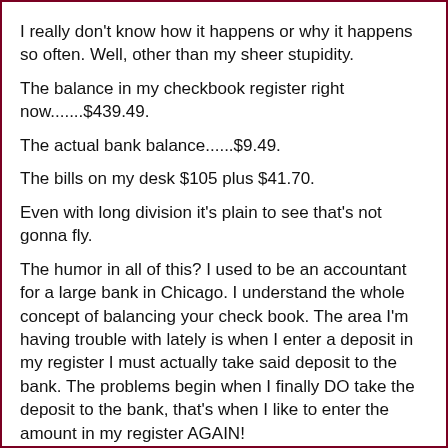I really don't know how it happens or why it happens so often. Well, other than my sheer stupidity.
The balance in my checkbook register right now.......$439.49.
The actual bank balance......$9.49.
The bills on my desk $105 plus $41.70.
Even with long division it's plain to see that's not gonna fly.
The humor in all of this? I used to be an accountant for a large bank in Chicago. I understand the whole concept of balancing your check book. The area I'm having trouble with lately is when I enter a deposit in my register I must actually take said deposit to the bank. The problems begin when I finally DO take the deposit to the bank, that's when I like to enter the amount in my register AGAIN!
I do this repeatedly! I am soooooo screwed. ARGHHHHH!